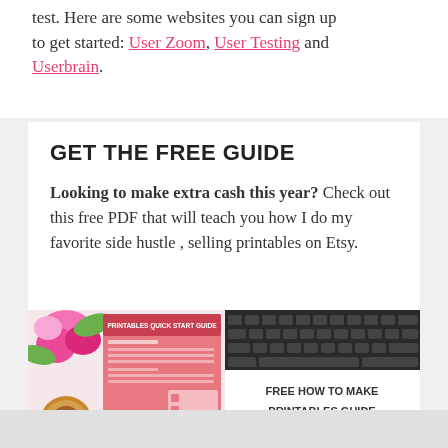test. Here are some websites you can sign up to get started: User Zoom, User Testing and Userbrain.
GET THE FREE GUIDE
Looking to make extra cash this year? Check out this free PDF that will teach you how I do my favorite side hustle , selling printables on Etsy.
[Figure (illustration): Image showing a free guide offer: a pink document titled 'Printables Quick Start Guide' next to a keyboard, with flowers, coffee, and an overlay reading 'FREE HOW TO MAKE PRINTABLES GUIDE']